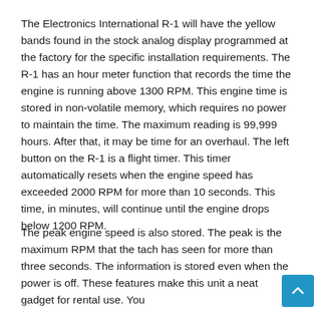The Electronics International R-1 will have the yellow bands found in the stock analog display programmed at the factory for the specific installation requirements. The R-1 has an hour meter function that records the time the engine is running above 1300 RPM. This engine time is stored in non-volatile memory, which requires no power to maintain the time. The maximum reading is 99,999 hours. After that, it may be time for an overhaul. The left button on the R-1 is a flight timer. This timer automatically resets when the engine speed has exceeded 2000 RPM for more than 10 seconds. This time, in minutes, will continue until the engine drops below 1200 RPM.
The peak engine speed is also stored. The peak is the maximum RPM that the tach has seen for more than three seconds. The information is stored even when the power is off. These features make this unit a neat gadget for rental use. You